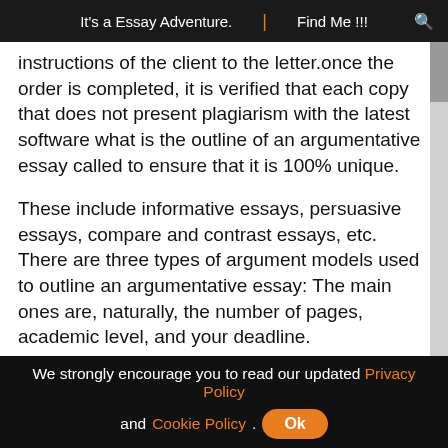It's a Essay Adventure.  Find Me !!!
instructions of the client to the letter.once the order is completed, it is verified that each copy that does not present plagiarism with the latest software what is the outline of an argumentative essay called to ensure that it is 100% unique.
These include informative essays, persuasive essays, compare and contrast essays, etc. There are three types of argument models used to outline an argumentative essay: The main ones are, naturally, the number of pages, academic level, and your deadline.
Logically, each of those three sections will have. It is a structure of your future paper. The most common structure to craft an argumentative essay is as follows:
We strongly encourage you to read our updated Privacy Policy and Cookie Policy. Ok